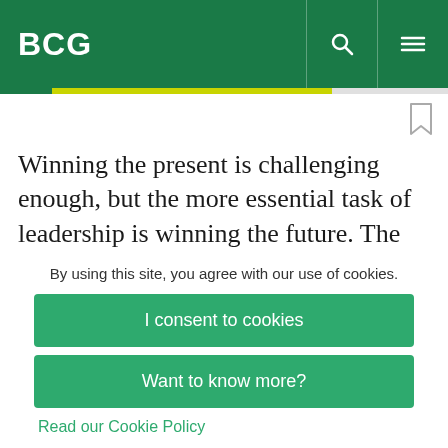BCG
Winning the present is challenging enough, but the more essential task of leadership is winning the future. The fast-changing world will test our status quo assumptions, and it is critical to look forward
By using this site, you agree with our use of cookies.
I consent to cookies
Want to know more?
Read our Cookie Policy